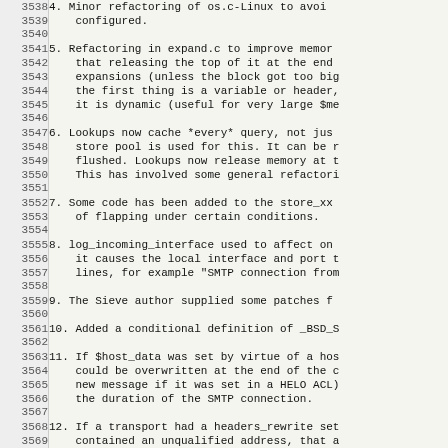4. Minor refactoring of os.c-Linux to avoid configured.
5. Refactoring in expand.c to improve memory that releasing the top of it at the end expansions (unless the block got too big the first thing is a variable or header, it is dynamic (useful for very large $me
6. Lookups now cache *every* query, not just store pool is used for this. It can be flushed. Lookups now release memory at This has involved some general refactoring
7. Some code has been added to the store_xx of flapping under certain conditions.
8. log_incoming_interface used to affect on it causes the local interface and port lines, for example "SMTP connection from
9. The Sieve author supplied some patches f
10. Added a conditional definition of _BSD_S
11. If $host_data was set by virtue of a hos could be overwritten at the end of the c new message if it was set in a HELO ACL) the duration of the SMTP connection.
12. If a transport had a headers_rewrite set contained an unqualified address, that a did not match any rewriting rules. The